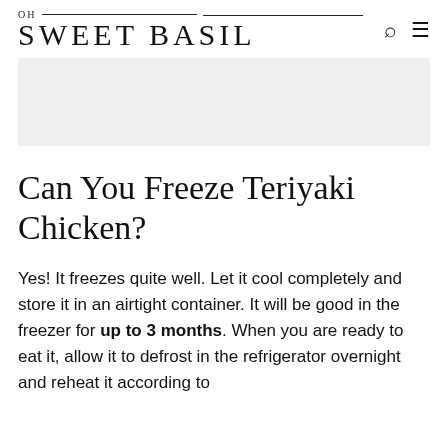OH SWEET BASIL
[Figure (other): Gray advertisement placeholder rectangle]
Can You Freeze Teriyaki Chicken?
Yes! It freezes quite well. Let it cool completely and store it in an airtight container. It will be good in the freezer for up to 3 months. When you are ready to eat it, allow it to defrost in the refrigerator overnight and reheat it according to